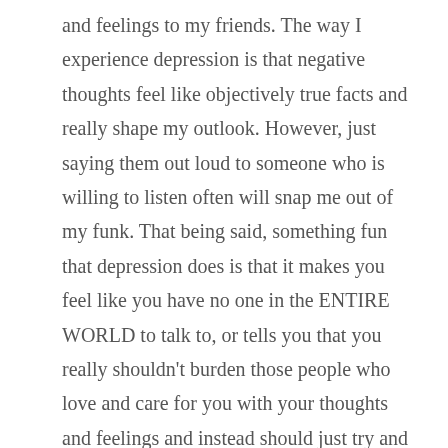and feelings to my friends. The way I experience depression is that negative thoughts feel like objectively true facts and really shape my outlook. However, just saying them out loud to someone who is willing to listen often will snap me out of my funk. That being said, something fun that depression does is that it makes you feel like you have no one in the ENTIRE WORLD to talk to, or tells you that you really shouldn't burden those people who love and care for you with your thoughts and feelings and instead should just try and get through it alone. And so when I am in a depressive period, it can be really hard to even take a step toward reaching out. I don't want to bother people, I feel ashamed that I am not having an amazing easy time because at the end of the day I live in Shanghai, one of the most beautiful, vibrant, exciting